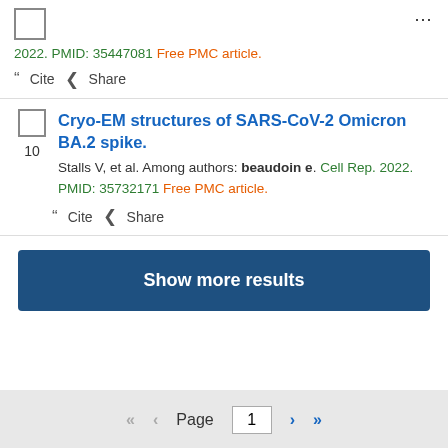...
2022. PMID: 35447081 Free PMC article.
Cite   Share
Cryo-EM structures of SARS-CoV-2 Omicron BA.2 spike.
Stalls V, et al. Among authors: beaudoin e. Cell Rep. 2022. PMID: 35732171 Free PMC article.
Cite   Share
Show more results
Page 1